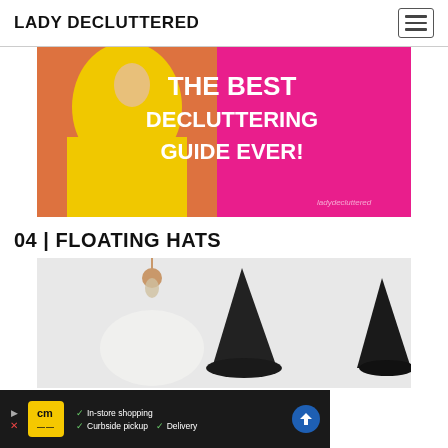LADY DECLUTTERED
[Figure (photo): Promotional banner with woman in yellow shirt on pink background with white bold text reading: THE BEST DECLUTTERING GUIDE EVER!]
04 | FLOATING HATS
[Figure (photo): Photo of floating witch hats hanging from ceiling with a light fixture, against white wall background.]
[Figure (screenshot): Ad bar for cm (Canadian Motors or similar) showing In-store shopping, Curbside pickup, Delivery options on dark background.]